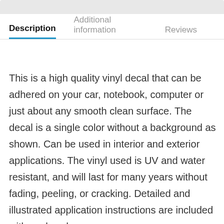Description | Additional information | Reviews
This is a high quality vinyl decal that can be adhered on your car, notebook, computer or just about any smooth clean surface. The decal is a single color without a background as shown. Can be used in interior and exterior applications. The vinyl used is UV and water resistant, and will last for many years without fading, peeling, or cracking. Detailed and illustrated application instructions are included with each order.